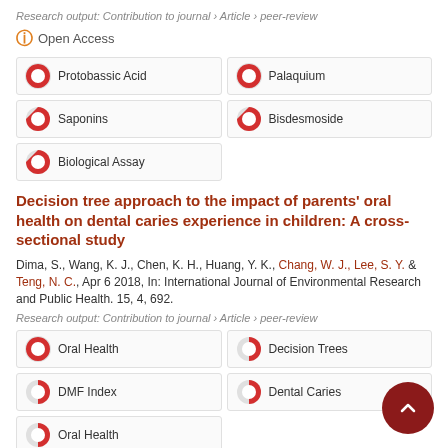Research output: Contribution to journal › Article › peer-review
Open Access
Protobassic Acid
Palaquium
Saponins
Bisdesmoside
Biological Assay
Decision tree approach to the impact of parents' oral health on dental caries experience in children: A cross-sectional study
Dima, S., Wang, K. J., Chen, K. H., Huang, Y. K., Chang, W. J., Lee, S. Y. & Teng, N. C., Apr 6 2018, In: International Journal of Environmental Research and Public Health. 15, 4, 692.
Research output: Contribution to journal › Article › peer-review
Oral Health
Decision Trees
DMF Index
Dental Caries
Oral Health